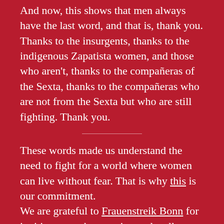And now, this shows that men always have the last word, and that is, thank you. Thanks to the insurgents, thanks to the indigenous Zapatista women, and those who aren't, thanks to the compañeras of the Sexta, thanks to the compañeras who are not from the Sexta but who are still fighting. Thank you.
These words made us understand the need to fight for a world where women can live without fear. That is why this is our commitment.
We are grateful to Frauenstreik Bonn for inviting us to the amazing and well organized protest of March 8th, 2021. Thank you, Kate and…